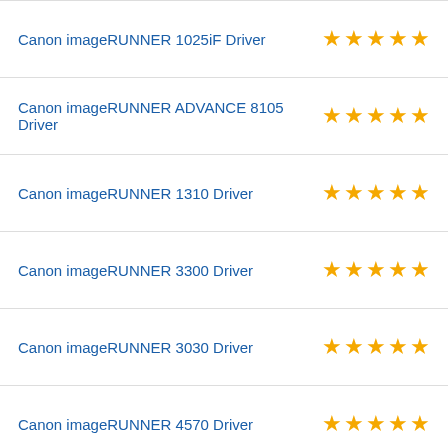Canon imageRUNNER 1025iF Driver
Canon imageRUNNER ADVANCE 8105 Driver
Canon imageRUNNER 1310 Driver
Canon imageRUNNER 3300 Driver
Canon imageRUNNER 3030 Driver
Canon imageRUNNER 4570 Driver
Canon imageRUNNER 1023 Driver
Canon imageRUNNER 2525 Driver
DriverGuide uses cookies to make our website easier to use. Learn more about cookies. [×]